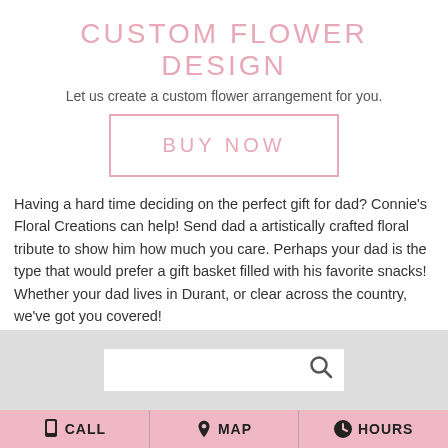CUSTOM FLOWER DESIGN
Let us create a custom flower arrangement for you.
BUY NOW
Having a hard time deciding on the perfect gift for dad? Connie's Floral Creations can help! Send dad a artistically crafted floral tribute to show him how much you care. Perhaps your dad is the type that would prefer a gift basket filled with his favorite snacks! Whether your dad lives in Durant, or clear across the country, we've got you covered!
[Figure (screenshot): Search bar with magnifying glass icon on grey background]
CALL   MAP   HOURS